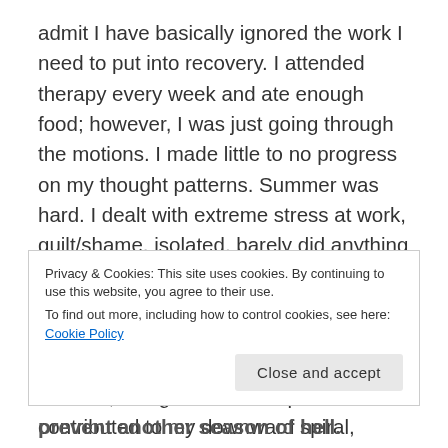admit I have basically ignored the work I need to put into recovery. I attended therapy every week and ate enough food; however, I was just going through the motions. I made little to no progress on my thought patterns. Summer was hard. I dealt with extreme stress at work, guilt/shame, isolated, barely did anything I love, etc. Returning to school has been a wakeup call. I've slipped into some old habits simply because I don't do much to prevent it. Triggers are everywhere – diet talk, being in the same place that contributed to my downward spiral, feeling like I have no people here, isolation because of that,
Privacy & Cookies: This site uses cookies. By continuing to use this website, you agree to their use.
To find out more, including how to control cookies, see here: Cookie Policy
Close and accept
prevent another season of hell.